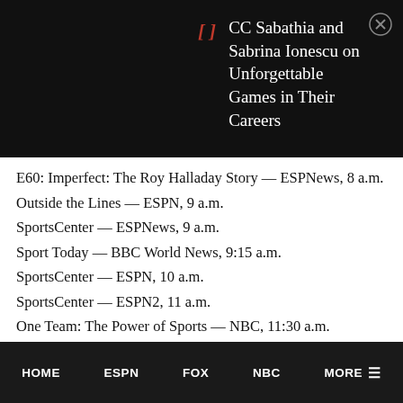CC Sabathia and Sabrina Ionescu on Unforgettable Games in Their Careers
E60: Imperfect: The Roy Halladay Story — ESPNews, 8 a.m.
Outside the Lines — ESPN, 9 a.m.
SportsCenter — ESPNews, 9 a.m.
Sport Today — BBC World News, 9:15 a.m.
SportsCenter — ESPN, 10 a.m.
SportsCenter — ESPN2, 11 a.m.
One Team: The Power of Sports — NBC, 11:30 a.m.
Sport Today — BBC World News, 2:15 p.m.
HOME   ESPNN   FOX   NBC   MORE